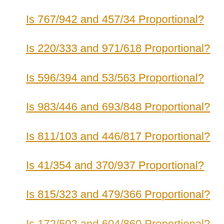Is 767/942 and 457/34 Proportional?
Is 220/333 and 971/618 Proportional?
Is 596/394 and 53/563 Proportional?
Is 983/446 and 693/848 Proportional?
Is 811/103 and 446/817 Proportional?
Is 41/354 and 370/937 Proportional?
Is 815/323 and 479/366 Proportional?
Is 172/502 and 604/860 Proportional?
Is 370/374 and 502/463 Proportional?